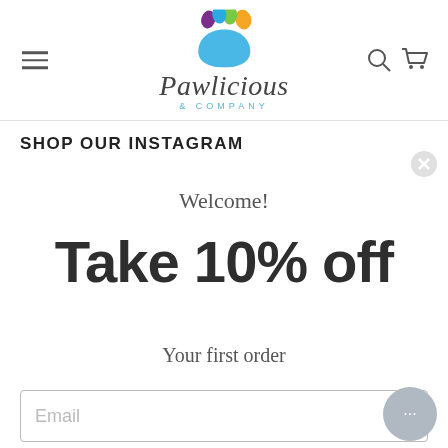[Figure (logo): Pawlicious & Company logo with colorful paw print above the brand name]
SHOP OUR INSTAGRAM
Welcome!
Take 10% off
Your first order
Email